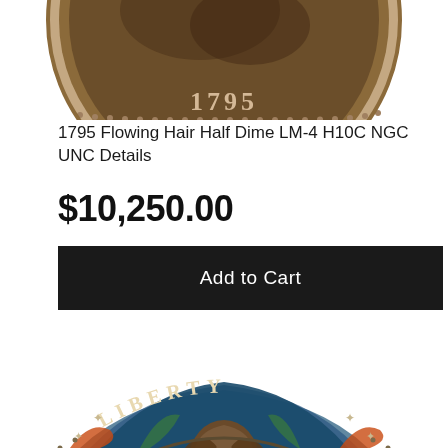[Figure (photo): Partial view of a 1795 Flowing Hair Half Dime coin showing the reverse/obverse side with the date 1795 visible at the top, dark bronze toning]
1795 Flowing Hair Half Dime LM-4 H10C NGC UNC Details
$10,250.00
Add to Cart
[Figure (photo): Close-up of 1795 Flowing Hair Half Dime coin obverse showing the Liberty bust with colorful toning (blue, orange, red, green iridescent colors), stars around the rim, and LIBERTY inscription at top]